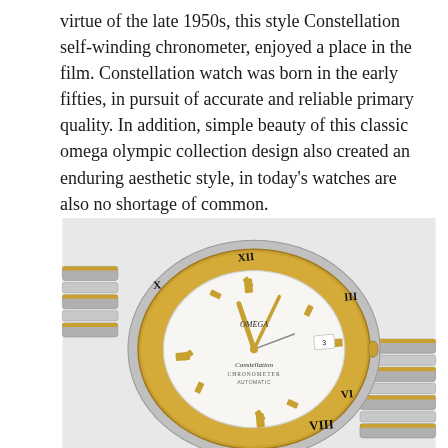virtue of the late 1950s, this style Constellation self-winding chronometer, enjoyed a place in the film. Constellation watch was born in the early fifties, in pursuit of accurate and reliable primary quality. In addition, simple beauty of this classic omega olympic collection design also created an enduring aesthetic style, in today's watches are also no shortage of common.
[Figure (photo): A photograph of an Omega Constellation luxury watch with a silver and gold two-tone bracelet, gold bezel with Roman numerals (III, VI, VIII, X, XII), white dial with gold hour markers and hands, and the Omega Constellation Chronometer branding on the dial. The watch is photographed at an angle showing the bracelet and bezel.]